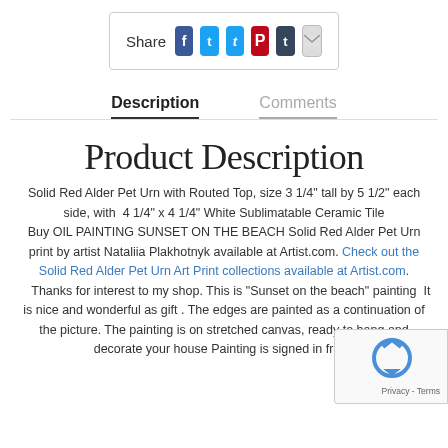[Figure (infographic): Share box with social media icons: Facebook, Twitter, Pinterest, Tumblr, Email]
Description | Comments
Product Description
Solid Red Alder Pet Urn with Routed Top, size 3 1/4" tall by 5 1/2" each side, with  4 1/4" x 4 1/4" White Sublimatable Ceramic Tile
Buy OIL PAINTING SUNSET ON THE BEACH Solid Red Alder Pet Urn print by artist Nataliia Plakhotnyk available at Artist.com. Check out the Solid Red Alder Pet Urn Art Print collections available at Artist.com.
Thanks for interest to my shop. This is "Sunset on the beach" painting  It is nice and wonderful as gift . The edges are painted as a continuation of the picture. The painting is on stretched canvas, ready to hang and decorate your house Painting is signed in front.